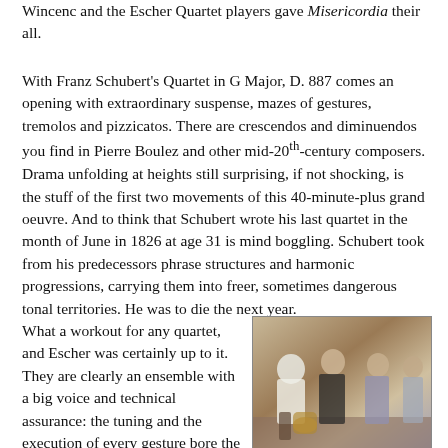Wincenc and the Escher Quartet players gave Misericordia their all.
With Franz Schubert's Quartet in G Major, D. 887 comes an opening with extraordinary suspense, mazes of gestures, tremolos and pizzicatos. There are crescendos and diminuendos you find in Pierre Boulez and other mid-20th-century composers. Drama unfolding at heights still surprising, if not shocking, is the stuff of the first two movements of this 40-minute-plus grand oeuvre. And to think that Schubert wrote his last quartet in the month of June in 1826 at age 31 is mind boggling. Schubert took from his predecessors phrase structures and harmonic progressions, carrying them into freer, sometimes dangerous tonal territories. He was to die the next year.
What a workout for any quartet, and Escher was certainly up to it. They are clearly an ensemble with a big voice and technical assurance: the tuning and the execution of every gesture bore the perfection
[Figure (photo): Photograph of the Escher String Quartet members, three musicians visible standing with instruments in what appears to be a backstage or venue setting.]
Escher String Quartet (Sophie Zhai